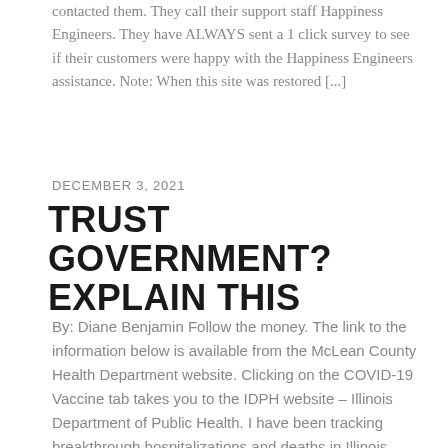contacted them. They call their support staff Happiness Engineers. They have ALWAYS sent a 1 click survey to see if their customers were happy with the Happiness Engineers assistance. Note: When this site was restored [...]
DECEMBER 3, 2021
TRUST GOVERNMENT? EXPLAIN THIS
By: Diane Benjamin Follow the money. The link to the information below is available from the McLean County Health Department website. Clicking on the COVID-19 Vaccine tab takes you to the IDPH website – Illinois Department of Public Health. I have been tracking breakthrough hospitalizations and deaths in Illinois which proves the vaccinated can still [...]